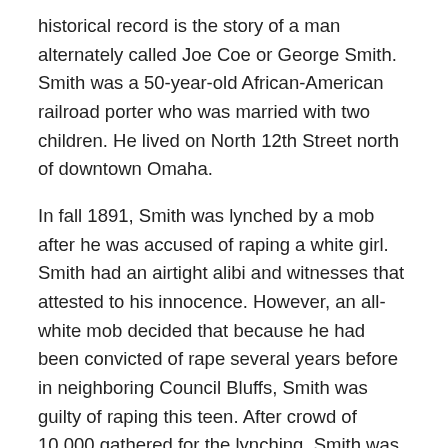historical record is the story of a man alternately called Joe Coe or George Smith. Smith was a 50-year-old African-American railroad porter who was married with two children. He lived on North 12th Street north of downtown Omaha.
In fall 1891, Smith was lynched by a mob after he was accused of raping a white girl. Smith had an airtight alibi and witnesses that attested to his innocence. However, an all-white mob decided that because he had been convicted of rape several years before in neighboring Council Bluffs, Smith was guilty of raping this teen. After crowd of 10,000 gathered for the lynching, Smith was dragged from the jail, beaten, and dragged through the city. Seven men were arrested for the crime, including the chief of police and the manager of a large dry goods store, but none were convicted. During the subsequent trial, the county coroner attested to Smith dying from “fright” rather than anything